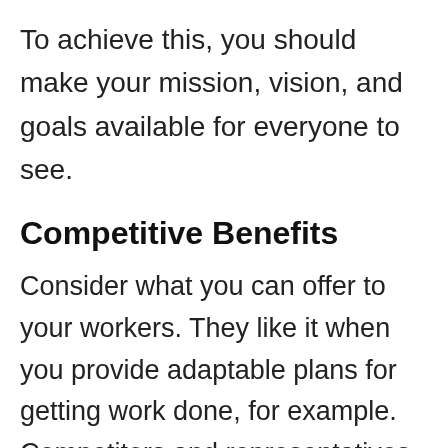To achieve this, you should make your mission, vision, and goals available for everyone to see.
Competitive Benefits
Consider what you can offer to your workers. They like it when you provide adaptable plans for getting work done, for example. Competitors and representatives likewise like vocation openings like hands-on preparation and expected advancements.